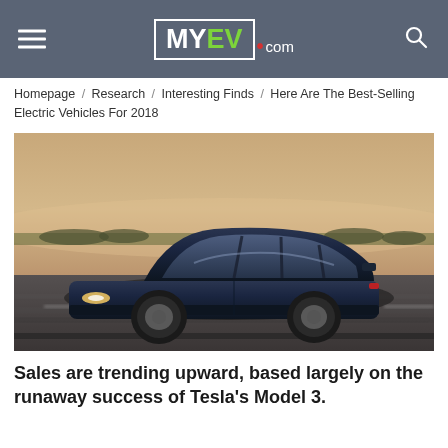MY EV .com
Homepage / Research / Interesting Finds / Here Are The Best-Selling Electric Vehicles For 2018
[Figure (photo): A dark blue Tesla Model 3 sedan driving on a road with a blurred motion background and golden-hour sky.]
Sales are trending upward, based largely on the runaway success of Tesla's Model 3.